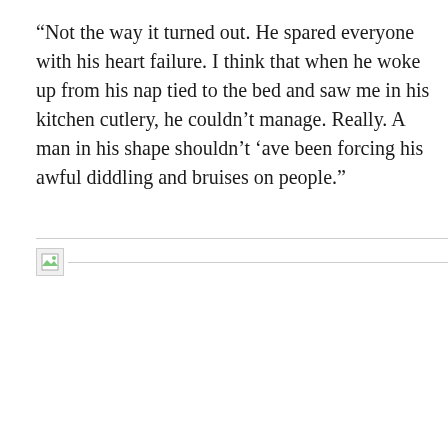“Not the way it turned out. He spared everyone with his heart failure. I think that when he woke up from his nap tied to the bed and saw me in his kitchen cutlery, he couldn’t manage. Really. A man in his shape shouldn’t ‘ave been forcing his awful diddling and bruises on people.”
[Figure (other): Broken image placeholder icon with a horizontal line extending to the right]